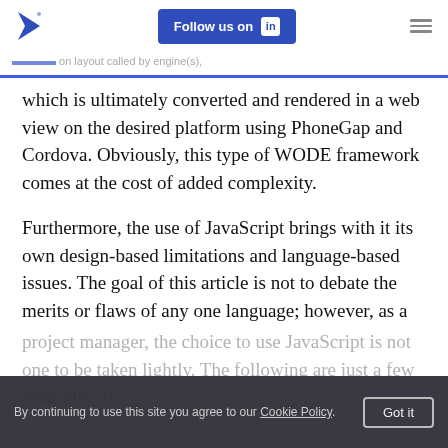Follow us on LinkedIn
which is ultimately converted and rendered in a web view on the desired platform using PhoneGap and Cordova. Obviously, this type of WODE framework comes at the cost of added complexity.
Furthermore, the use of JavaScript brings with it its own design-based limitations and language-based issues. The goal of this article is not to debate the merits or flaws of any one language; however, as a
project manager, the choice to use JavaScript is not one to be taken lightly. The following are just a few examples of
By continuing to use this site you agree to our Cookie Policy.